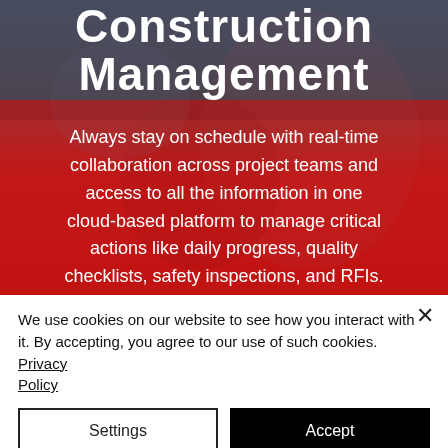[Figure (photo): Hero image with a person in a red jacket in a construction context, overlaid with a dark/red gradient and white text title 'Construction Management' at top]
Construction Management
Always stay on schedule with real-time collaboration across project teams and access to all the information in one cloud-based platform to manage critical actions like daily progress, quality checklists, safety inspections, and RFIs.
We use cookies on our website to see how you interact with it. By accepting, you agree to our use of such cookies. Privacy Policy
Settings
Accept